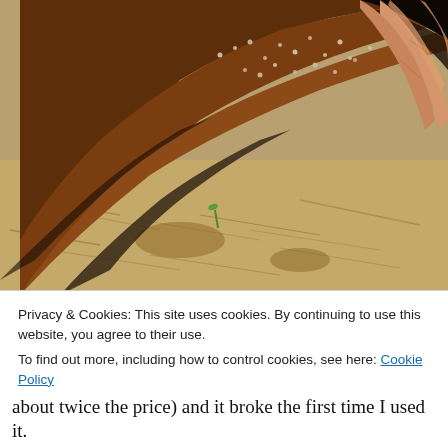[Figure (photo): Close-up photo of a bird (likely a chicken or pheasant) with brown and black feathers speckled with white dots, being held by a human hand. The bird is lying on dry grass/straw ground.]
Privacy & Cookies: This site uses cookies. By continuing to use this website, you agree to their use.
To find out more, including how to control cookies, see here: Cookie Policy
Close and accept
about twice the price) and it broke the first time I used it.